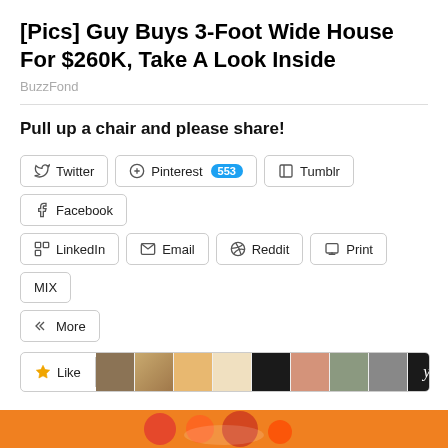[Pics] Guy Buys 3-Foot Wide House For $260K, Take A Look Inside
BuzzFond
Pull up a chair and please share!
[Figure (screenshot): Social share buttons: Twitter, Pinterest (553), Tumblr, Facebook, LinkedIn, Email, Reddit, Print, MIX, More]
[Figure (screenshot): Like button and row of user avatars]
Privacy & Cookies: This site uses cookies. By continuing to use this website, you agree to their use.
To find out more, including how to control cookies, see here: Cookie Policy
[Figure (photo): Bottom strip with colorful decorative image]